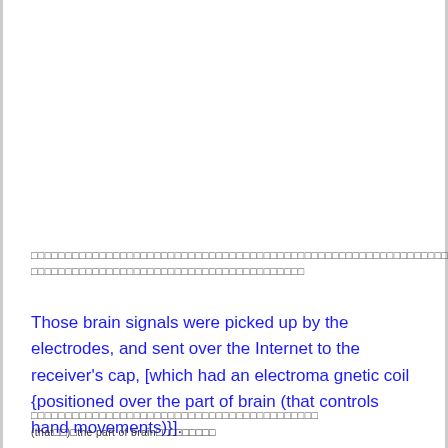□□□□□□□□□□□□□□□□□□□□□□□□□□□□□□□□□□□□□□□□□□□□□□□□□□□□□□□□□□□□□□□□□□□□□□□□□□□□□□□□□□□□□□□□□□□□□□□□□□□□□□□□□□□□□□□□□□□□□
Those brain signals were picked up by the electrodes, and sent over the Internet to the receiver's cap, [which had an electromagnetic coil {positioned over the part of brain (that controls hand movements)}].
□□□□□□□□□□□□□□□□□□□□□□□□□□□□□□□□□□□□□□□□□□
(that□□)□the part of brain□□□□□□□□□